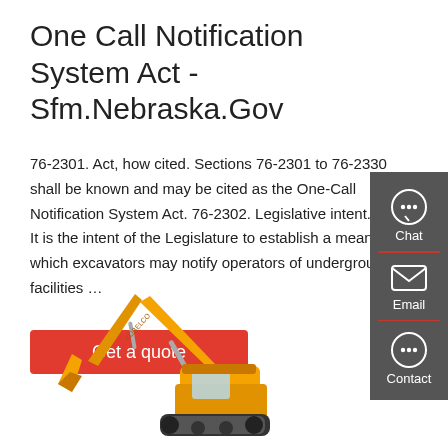One Call Notification System Act - Sfm.Nebraska.Gov
76-2301. Act, how cited. Sections 76-2301 to 76-2330 shall be known and may be cited as the One-Call Notification System Act. 76-2302. Legislative intent. (1) It is the intent of the Legislature to establish a means by which excavators may notify operators of underground facilities …
[Figure (screenshot): Red button with white text 'Get a quote']
[Figure (photo): Yellow/orange excavator construction machine on white background]
[Figure (infographic): Dark gray sidebar with Chat, Email, and Contact icons and labels]